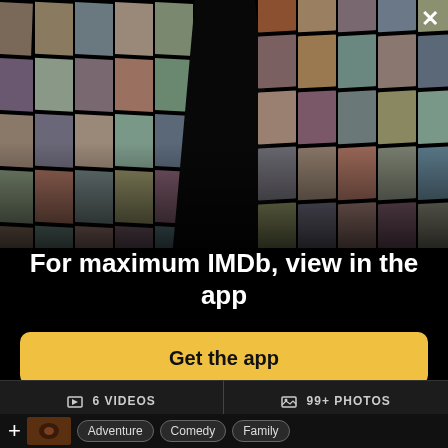[Figure (photo): IMDb app promotional hero image showing a collage of celebrity photos and movie posters arranged in a 3D perspective mosaic on a black background, with a close (X) button in the top-right corner.]
For maximum IMDb, view in the app
Get the app
6 VIDEOS
99+ PHOTOS
Adventure
Comedy
Family